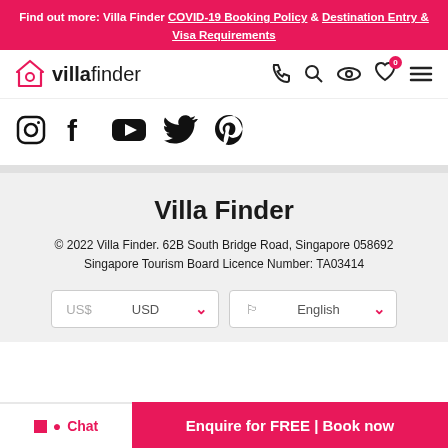Find out more: Villa Finder COVID-19 Booking Policy & Destination Entry & Visa Requirements
[Figure (logo): Villa Finder logo with house icon and navigation icons (phone, search, eye, heart with badge 0, hamburger menu)]
[Figure (illustration): Social media icons: Instagram, Facebook, YouTube, Twitter, Pinterest]
Villa Finder
© 2022 Villa Finder. 62B South Bridge Road, Singapore 058692 Singapore Tourism Board Licence Number: TA03414
[Figure (screenshot): Currency dropdown showing US$ USD and language dropdown showing English with flag emoji]
Chat | Enquire for FREE | Book now